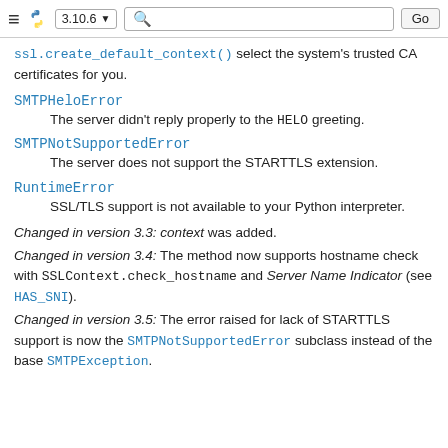≡ 🐍 3.10.6 ▾ [search] Go
ssl.create_default_context() select the system's trusted CA certificates for you.
SMTPHeloError
The server didn't reply properly to the HELO greeting.
SMTPNotSupportedError
The server does not support the STARTTLS extension.
RuntimeError
SSL/TLS support is not available to your Python interpreter.
Changed in version 3.3: context was added.
Changed in version 3.4: The method now supports hostname check with SSLContext.check_hostname and Server Name Indicator (see HAS_SNI).
Changed in version 3.5: The error raised for lack of STARTTLS support is now the SMTPNotSupportedError subclass instead of the base SMTPException.